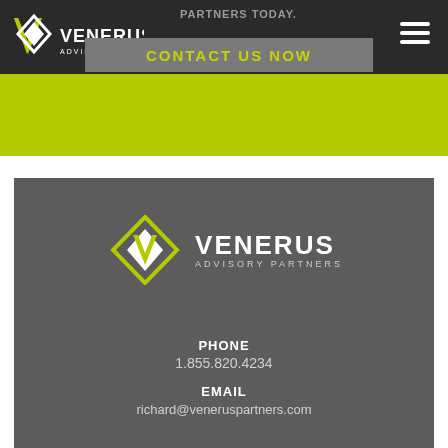[Figure (logo): Venerus Advisory Partners logo (top navigation bar) with white V-mark and white text on dark background]
PARTNERS TODAY.
CONTACT US NOW
[Figure (logo): Venerus Advisory Partners logo centered in dark gray footer section with lime-green V-mark and white text]
PHONE
1.855.820.4234
EMAIL
richard@veneruspartners.com